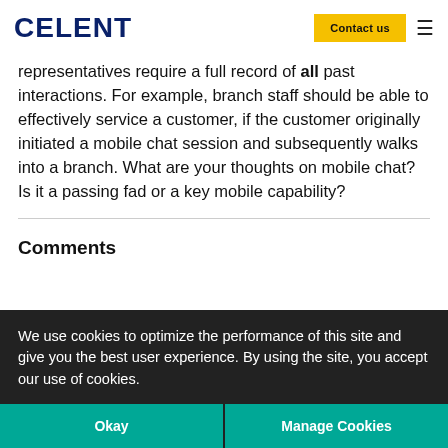CELENT
representatives require a full record of all past interactions. For example, branch staff should be able to effectively service a customer, if the customer originally initiated a mobile chat session and subsequently walks into a branch. What are your thoughts on mobile chat? Is it a passing fad or a key mobile capability?
Comments
We use cookies to optimize the performance of this site and give you the best user experience. By using the site, you accept our use of cookies.